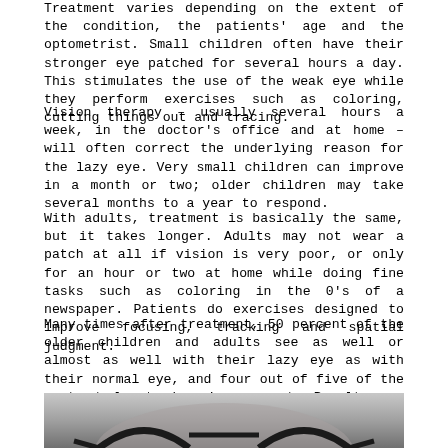Treatment varies depending on the extent of the condition, the patients' age and the optometrist. Small children often have their stronger eye patched for several hours a day. This stimulates the use of the weak eye while they perform exercises such as coloring, cutting things out and tracing.
Vision therapy – usually several hours a week, in the doctor's office and at home – will often correct the underlying reason for the lazy eye. Very small children can improve in a month or two; older children may take several months to a year to respond.
With adults, treatment is basically the same, but it takes longer. Adults may not wear a patch at all if vision is very poor, or only for an hour or two at home while doing fine tasks such as coloring in the 0's of a newspaper. Patients do exercises designed to improve focusing, tracking and spatial judgment.
Many times after treatment, 50 percent of the older children and adults see as well or almost as well with their lazy eye as with their normal eye, and four out of five of the rest at least show improvement. Results are permanent when both the amblyopia and the underlying problem are corrected. When the latter can't be treated, patients should continue the exercises on a less-frequent basis and visit their optometrist periodically so that the eye does not weaken again.
[Figure (photo): Photo of a person wearing glasses, showing the top portion of eyeglasses frame against a blurred background, viewed from below.]